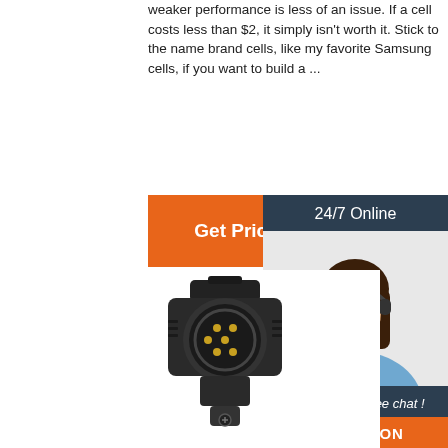weaker performance is less of an issue. If a cell costs less than $2, it simply isn't worth it. Stick to the name brand cells, like my favorite Samsung cells, if you want to build a ...
[Figure (other): Orange 'Get Price' button]
[Figure (other): Advertisement banner with '24/7 Online' header, customer service woman with headset, 'Click here for free chat!' text, and orange 'QUOTATION' button on dark background]
[Figure (other): Black plastic electrical connector/adapter with gold pins, circular socket, trailer plug style]